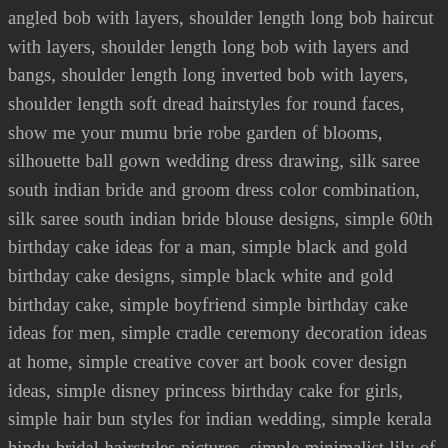angled bob with layers, shoulder length long bob haircut with layers, shoulder length long bob with layers and bangs, shoulder length long inverted bob with layers, shoulder length soft dread hairstyles for round faces, show me your mumu brie robe garden of blooms, silhouette ball gown wedding dress drawing, silk saree south indian bride and groom dress color combination, silk saree south indian bride blouse designs, simple 60th birthday cake ideas for a man, simple black and gold birthday cake designs, simple black white and gold birthday cake, simple boyfriend simple birthday cake ideas for men, simple cradle ceremony decoration ideas at home, simple creative cover art book cover design ideas, simple disney princess birthday cake for girls, simple hair bun styles for indian wedding, simple kerala hindu bridal hairstyles pictures, simple minimalist lily of the valley tattoo, simple modern simple birthday cake designs for adults, simple south indian bridal hairstyles front, simple teenage girl simple ghagra choli for wedding, simple wedding pattu saree blouse designs, single layer simple birthday cake for girls, single tier 30th birthday cake ideas for her, single wedding photography bride poses indian, sinhala language wedding cake recipes sinhala, sinhala language wedding cake recipes sinhala